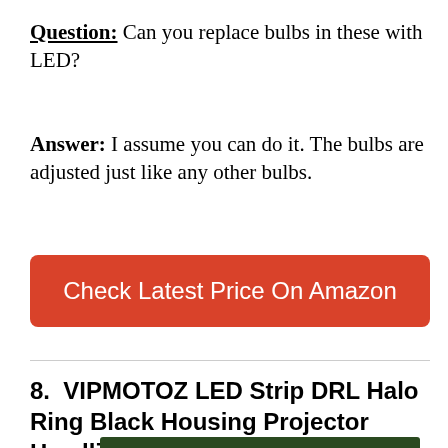Question: Can you replace bulbs in these with LED?
Answer: I assume you can do it. The bulbs are adjusted just like any other bulbs.
Check Latest Price On Amazon
8.  VIPMOTOZ LED Strip DRL Halo Ring Black Housing Projector Headlight
[Figure (infographic): Advertisement banner: Just $2 can protect 1 acre of irreplaceable forest homes in the Amazon. How many acres are you willing to protect? PROTECT FORESTS NOW]